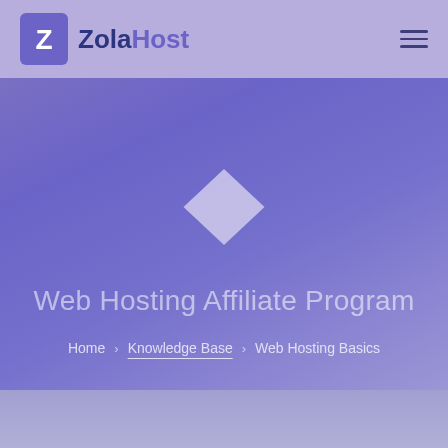ZolaHost
Web Hosting Affiliate Program
Home › Knowledge Base › Web Hosting Basics